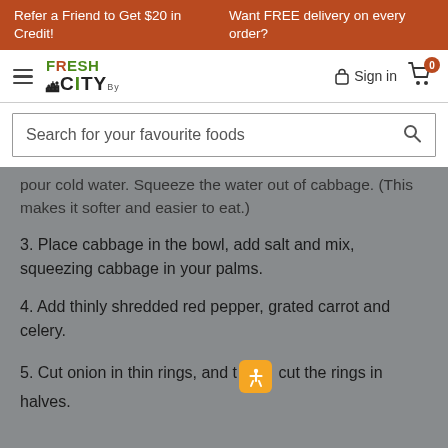Refer a Friend to Get $20 in Credit!  Want FREE delivery on every order?
[Figure (logo): Fresh City Farms logo with hamburger menu, Sign in button and cart icon]
Search for your favourite foods
pour cold water. Squeeze the water out of cabbage. (This makes it softer and easier to eat.)
3. Place cabbage in the bowl, add salt and mix, squeezing cabbage in your palms.
4. Add thinly shredded red pepper, grated carrot and celery.
5. Cut onion in thin rings, and then cut the rings in halves.